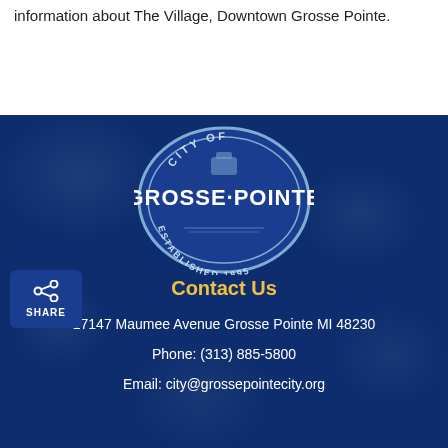information about The Village, Downtown Grosse Pointe.
[Figure (logo): City of Grosse Pointe official seal — oval shaped badge with text 'CITY OF GROSSE POINTE ESTABLISHED 1895' and decorative elements]
Contact Us
17147 Maumee Avenue Grosse Pointe MI 48230
Phone: (313) 885-5800
Email: city@grosspointecity.org